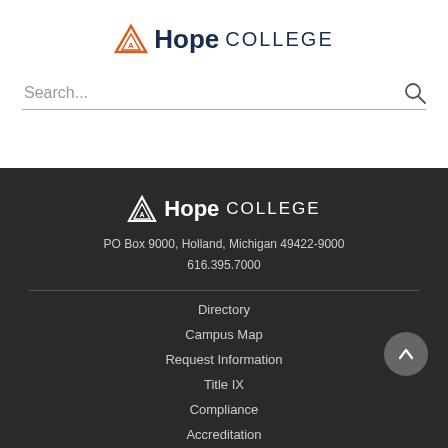[Figure (logo): Hope College logo with orange triangle icon and bold Hope COLLEGE text in dark navy]
Search...
[Figure (logo): Hope College logo white version with triangle icon on dark background]
PO Box 9000, Holland, Michigan 49422-9000
616.395.7000
Directory
Campus Map
Request Information
Title IX
Compliance
Accreditation